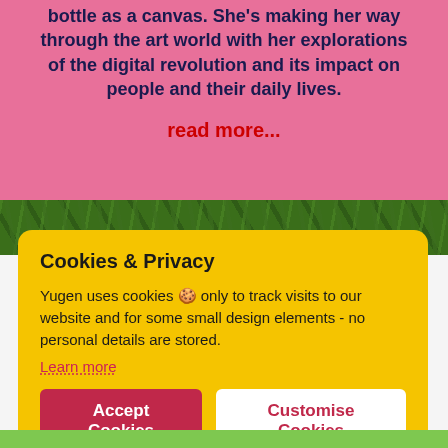bottle as a canvas. She's making her way through the art world with her explorations of the digital revolution and its impact on people and their daily lives.
read more...
[Figure (photo): Dark green tropical plant leaves background strip]
Cookies & Privacy
Yugen uses cookies 🍪 only to track visits to our website and for some small design elements - no personal details are stored.
Learn more
Accept Cookies
Customise Cookies